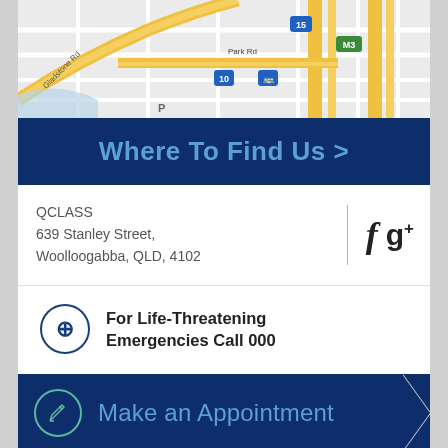[Figure (map): Street map showing Gladstone Rd, Park Rd, route 15, route 10, M3 motorway, with yellow roads on grey/white street grid]
Where To Find Us >
QCLASS
639 Stanley Street,
Woolloogabba, QLD, 4102
[Figure (logo): Facebook 'f' icon and Google+ 'g+' social media icons]
For Life-Threatening Emergencies Call 000
Make an Appointment
© 2015 by HudsonPsychTherapies. Proudly created with Wix.com